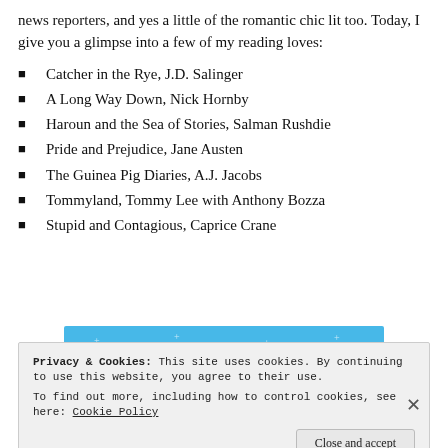news reporters, and yes a little of the romantic chic lit too. Today, I give you a glimpse into a few of my reading loves:
Catcher in the Rye, J.D. Salinger
A Long Way Down, Nick Hornby
Haroun and the Sea of Stories, Salman Rushdie
Pride and Prejudice, Jane Austen
The Guinea Pig Diaries, A.J. Jacobs
Tommyland, Tommy Lee with Anthony Bozza
Stupid and Contagious, Caprice Crane
[Figure (screenshot): Blue app banner with 'Get the app' button]
Privacy & Cookies: This site uses cookies. By continuing to use this website, you agree to their use. To find out more, including how to control cookies, see here: Cookie Policy
Close and accept